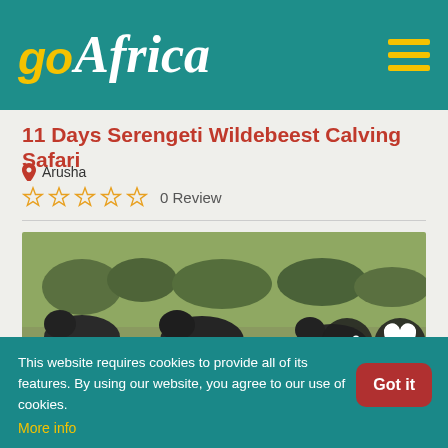goAfrica
11 Days Serengeti Wildebeest Calving Safari
Arusha
0 Review
[Figure (photo): Blurred photograph of wildebeest grazing on savanna grassland with trees in background. Two dark circular icon buttons visible on right side: a share icon and a heart/favorite icon.]
This website requires cookies to provide all of its features. By using our website, you agree to our use of cookies.
More info